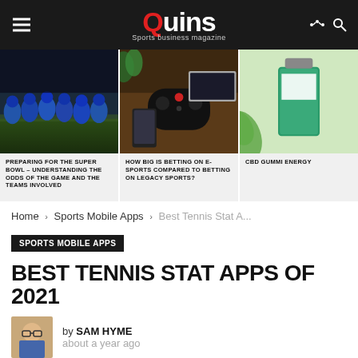Quins — Sports business magazine
[Figure (screenshot): Featured article thumbnail: football players in blue uniforms lined up on field at night]
PREPARING FOR THE SUPER BOWL – UNDERSTANDING THE ODDS OF THE GAME AND THE TEAMS INVOLVED
[Figure (screenshot): Featured article thumbnail: gaming controller, laptop, smartphone on wooden desk]
HOW BIG IS BETTING ON E-SPORTS COMPARED TO BETTING ON LEGACY SPORTS?
[Figure (screenshot): Featured article thumbnail: CBD gummies energy product]
CBD GUMMI ENERGY
Home › Sports Mobile Apps › Best Tennis Stat A...
SPORTS MOBILE APPS
BEST TENNIS STAT APPS OF 2021
by SAM HYME
about a year ago
This article outlines Quins.us top picks for the best